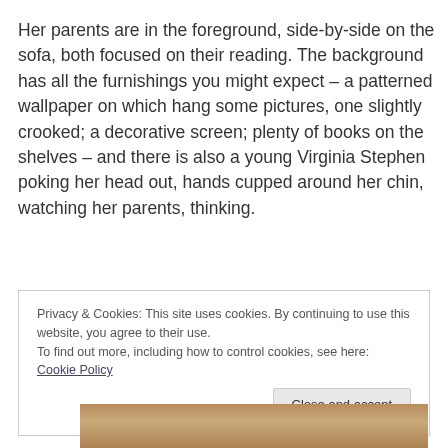Her parents are in the foreground, side-by-side on the sofa, both focused on their reading. The background has all the furnishings you might expect – a patterned wallpaper on which hang some pictures, one slightly crooked; a decorative screen; plenty of books on the shelves – and there is also a young Virginia Stephen poking her head out, hands cupped around her chin, watching her parents, thinking.
Privacy & Cookies: This site uses cookies. By continuing to use this website, you agree to their use.
To find out more, including how to control cookies, see here: Cookie Policy
[Figure (photo): Partial view of a sepia-toned photograph at the bottom of the page]